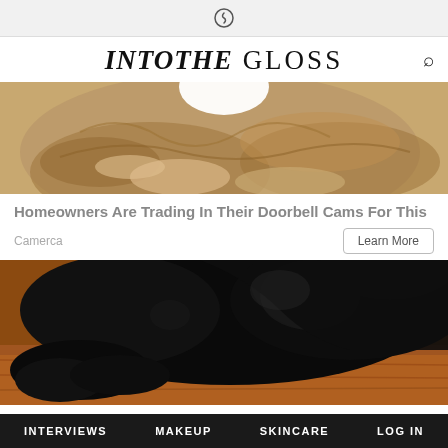INTO THE GLOSS
[Figure (photo): Close-up image of bread/toast with what appears to be a white circular object, tan and brown tones, ad image]
Homeowners Are Trading In Their Doorbell Cams For This
Camerca
Learn More
[Figure (photo): Close-up photo of a black dog lying on a wooden floor, dark tones]
INTERVIEWS   MAKEUP   SKINCARE   LOG IN